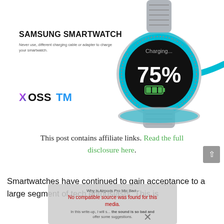[Figure (photo): Samsung smartwatch on charging pad showing 75% battery, with blue cable, silver metal bracelet.]
SAMSUNG SMARTWATCH
Never use, different charging cable or adapter to charge your smartwatch.
[Figure (logo): XOSSTM logo with multicolor X and blue TM text]
This post contains affiliate links. Read the full disclosure here.
Smartwatches have continued to gain acceptance to a large segment of tech enthusiasts. This is
[Figure (screenshot): Video player overlay: 'Why is Airpods Pro Mic Bad - No compatible source was found for this media.' with comments visible below.]